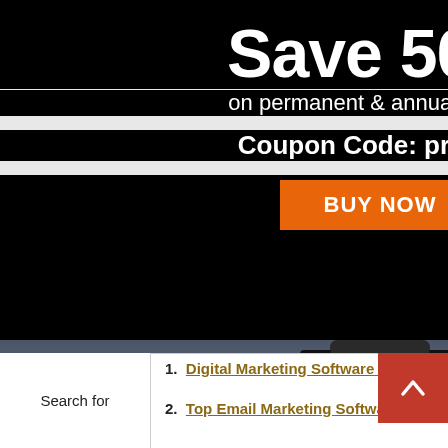Save 50%
on permanent & annual license
Coupon Code: prr50off
BUY NOW
[Figure (photo): Professional camera rig with external monitor attached on top, photographed against a dramatic cloudy sky at dusk]
Search for
1. Digital Marketing Software Online
2. Top Email Marketing Software Online